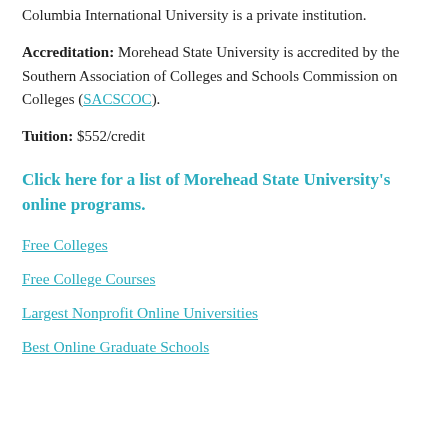Columbia International University is a private institution.
Accreditation: Morehead State University is accredited by the Southern Association of Colleges and Schools Commission on Colleges (SACSCOC).
Tuition: $552/credit
Click here for a list of Morehead State University's online programs.
Free Colleges
Free College Courses
Largest Nonprofit Online Universities
Best Online Graduate Schools